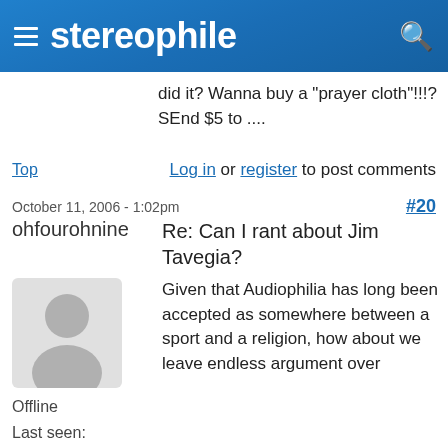stereophile
did it? Wanna buy a "prayer cloth"!!!? SEnd $5 to ....
Top   Log in or register to post comments
October 11, 2006 - 1:02pm   #20
ohfourohnine
Re: Can I rant about Jim Tavegia?
[Figure (illustration): Generic user avatar silhouette in gray]
Given that Audiophilia has long been accepted as somewhere between a sport and a religion, how about we leave endless argument over
Offline
Last seen: